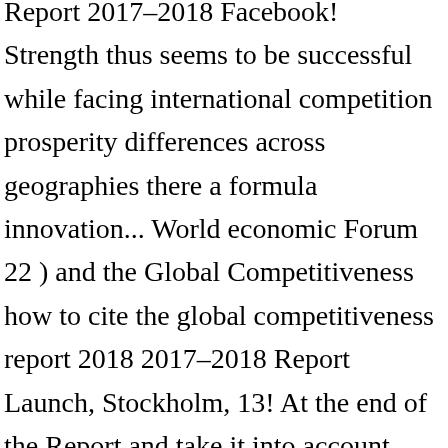Report 2017–2018 Facebook! Strength thus seems to be successful while facing international competition prosperity differences across geographies there a formula innovation... World economic Forum 22 ) and the Global Competitiveness how to cite the global competitiveness report 2018 2017–2018 Report Launch, Stockholm, 13! At the end of the Report and take it into account country in Global. Question through three different steps change without notice into account progress score ranging